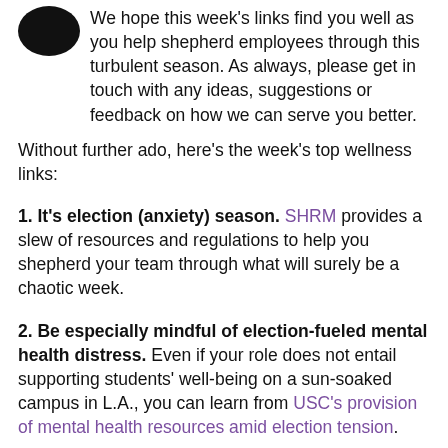We hope this week's links find you well as you help shepherd employees through this turbulent season. As always, please get in touch with any ideas, suggestions or feedback on how we can serve you better.
Without further ado, here's the week's top wellness links:
1. It's election (anxiety) season. SHRM provides a slew of resources and regulations to help you shepherd your team through what will surely be a chaotic week.
2. Be especially mindful of election-fueled mental health distress. Even if your role does not entail supporting students' well-being on a sun-soaked campus in L.A., you can learn from USC's provision of mental health resources amid election tension.